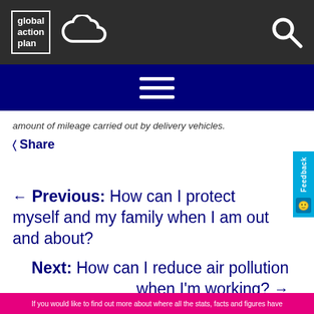global action plan [logo with cloud icon and search icon]
[Figure (screenshot): Navigation hamburger menu icon (three horizontal white lines) on dark blue background]
amount of mileage carried out by delivery vehicles.
< Share
← Previous: How can I protect myself and my family when I am out and about?
Next: How can I reduce air pollution when I'm working? →
If you would like to find out more about where all the stats, facts and figures have